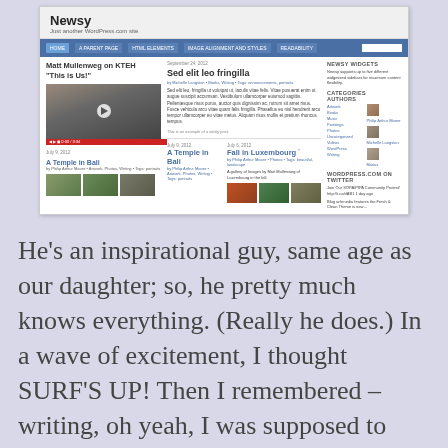[Figure (screenshot): Screenshot of the 'Newsy' WordPress theme website showing a blog layout with navigation bar, multiple posts including 'Matt Mullenweg on KTEH This is Us!', 'Sed elit leo fringilla', 'A Temple in Bali', and 'Fall in Luxembourg', along with sidebars showing categories, authors, and WordPress Twitter widget.]
He's an inspirational guy, same age as our daughter; so, he pretty much knows everything. (Really he does.) In a wave of excitement, I thought SURF'S UP! Then I remembered – writing, oh yeah, I was supposed to